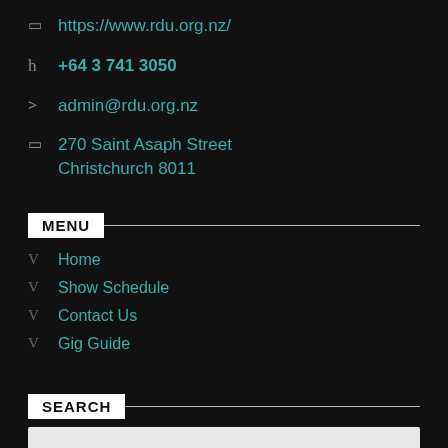https://www.rdu.org.nz/
+64 3 741 3050
admin@rdu.org.nz
270 Saint Asaph Street Christchurch 8011
MENU
Home
Show Schedule
Contact Us
Gig Guide
SEARCH